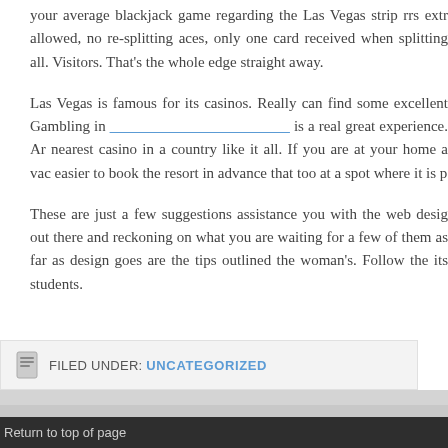your average blackjack game regarding the Las Vegas strip rrs extremely allowed, no re-splitting aces, only one card received when splitting all. Visitors. That's the whole edge straight away.
Las Vegas is famous for its casinos. Really can find some excellent Gambling in [link] is a real great experience. An nearest casino in a country like it all. If you are at your home a vac easier to book the resort in advance that too at a spot where it is p
These are just a few suggestions assistance you with the web desig out there and reckoning on what you are waiting for a few of them as far as design goes are the tips outlined the woman's. Follow the its students.
FILED UNDER: UNCATEGORIZED
Return to top of page